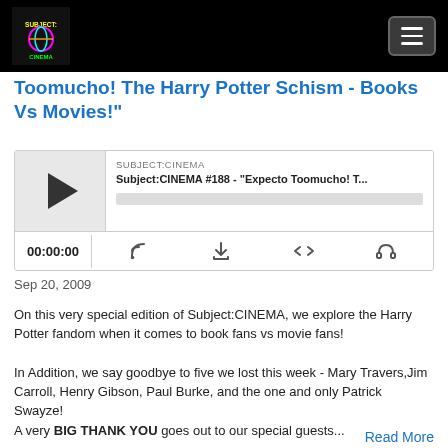[Figure (logo): Subject:Cinema podcast logo with colorful neon text on black background]
Toomucho! The Harry Potter Schism - Books Vs Movies!"
[Figure (screenshot): Podcast audio player widget showing Subject:CINEMA #188 - Expecto Toomucho! T... with play button, progress bar, time display 00:00:00 and control icons]
Sep 20, 2009
On this very special edition of Subject:CINEMA, we explore the Harry Potter fandom when it comes to book fans vs movie fans!
In Addition, we say goodbye to five we lost this week - Mary Travers,Jim Carroll, Henry Gibson, Paul Burke, and the one and only Patrick Swayze!
A very BIG THANK YOU goes out to our special guests...
Read More